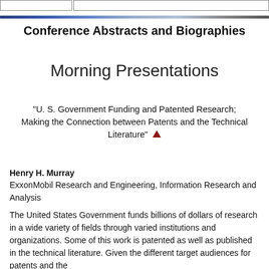[tab border elements]
Conference Abstracts and Biographies
Morning Presentations
"U. S. Government Funding and Patented Research; Making the Connection between Patents and the Technical Literature" ▲
Henry H. Murray
ExxonMobil Research and Engineering, Information Research and Analysis
The United States Government funds billions of dollars of research in a wide variety of fields through varied institutions and organizations. Some of this work is patented as well as published in the technical literature. Given the different target audiences for patents and the